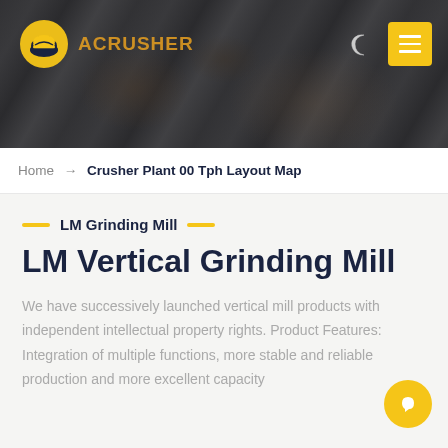[Figure (photo): Header banner showing industrial crusher plant machinery and rocky terrain in dark/moody tones with company logo and navigation]
ACRUSHER (logo) | Home → Crusher Plant 00 Tph Layout Map
Home → Crusher Plant 00 Tph Layout Map
LM Grinding Mill
LM Vertical Grinding Mill
We have successively launched vertical mill products with independent intellectual property rights. Product Features: Integration of multiple functions, more stable and reliable production and more excellent capacity